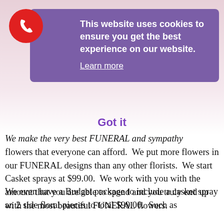[Figure (other): Red circular phone icon button in top left corner]
This website uses cookies to ensure you get the best experience on our website. Learn more
Got it
We make the very best FUNERAL and sympathy flowers that everyone can afford.  We put more flowers in our FUNERAL designs than any other florists.  We start Casket sprays at $99.00.  We work with you with the amount that you are able to spend and you truly end up with the most beautiful FUNERAL flowers.
We even have a Budget package to include a casket spray an 2 side floral pieces to total $99.00.  Such as